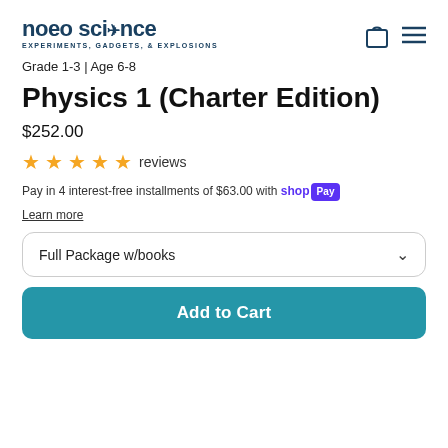noeo science EXPERIMENTS, GADGETS, & EXPLOSIONS
Grade 1-3 | Age 6-8
Physics 1 (Charter Edition)
$252.00
★★★★★ reviews
Pay in 4 interest-free installments of $63.00 with shop Pay
Learn more
Full Package w/books
Add to Cart